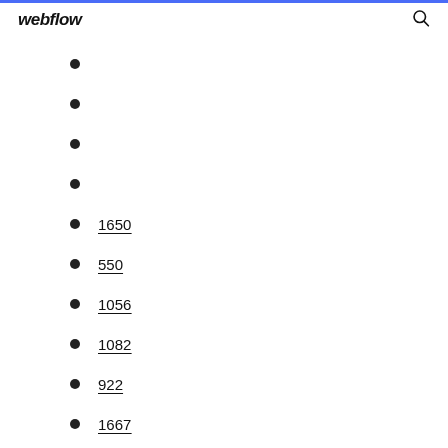webflow
1650
550
1056
1082
922
1667
399
336